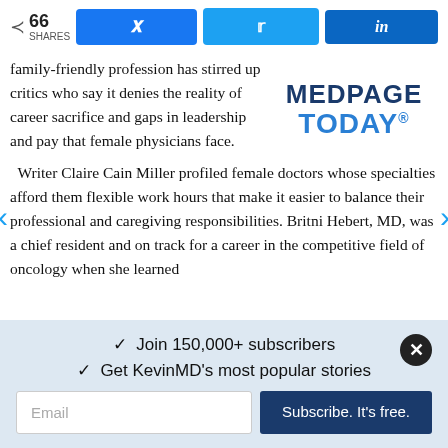66 SHARES | Facebook | Twitter | LinkedIn
family-friendly profession has stirred up critics who say it denies the reality of career sacrifice and gaps in leadership and pay that female physicians face.
[Figure (logo): MedPage Today logo — two-line bold text, MEDPAGE in dark navy, TODAY in blue]
Writer Claire Cain Miller profiled female doctors whose specialties afford them flexible work hours that make it easier to balance their professional and caregiving responsibilities. Britni Hebert, MD, was a chief resident and on track for a career in the competitive field of oncology when she learned
✓  Join 150,000+ subscribers
✓  Get KevinMD's most popular stories
Email | Subscribe. It's free.